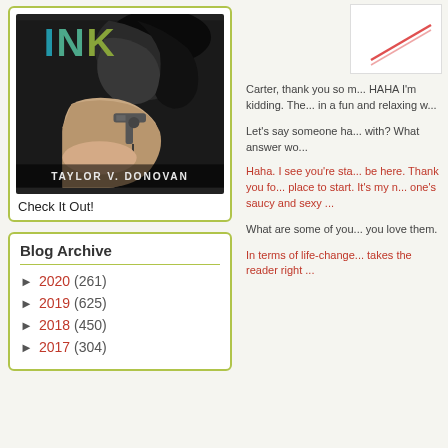[Figure (illustration): Book cover for 'INK' by Taylor V. Donovan — black and white photo of a person tattooing, with colorful INK title text]
Check It Out!
Blog Archive
► 2020 (261)
► 2019 (625)
► 2018 (450)
► 2017 (304)
[Figure (illustration): Small partial image top right — white background with a red diagonal line/shape]
Carter, thank you so m... HAHA I'm kidding. The... in a fun and relaxing w...
Let's say someone ha... with? What answer wo...
Haha. I see you're sta... be here. Thank you fo... place to start. It's my n... one's saucy and sexy ...
What are some of you... you love them.
In terms of life-change... takes the reader right ...